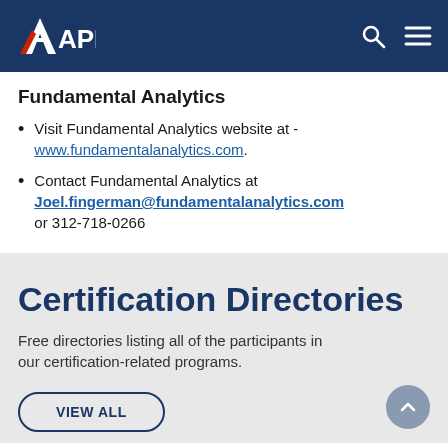API - Navigation header with logo, search, and menu
Fundamental Analytics
Visit Fundamental Analytics website at - www.fundamentalanalytics.com.
Contact Fundamental Analytics at Joel.fingerman@fundamentalanalytics.com or 312-718-0266
Certification Directories
Free directories listing all of the participants in our certification-related programs.
VIEW ALL